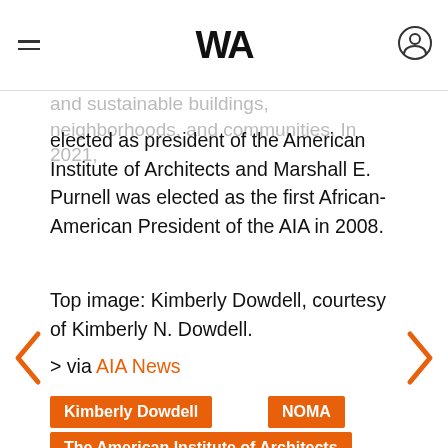W (Arquitectura Viva / ArchDaily style header)
and sustainable buildings, neighborhoods, and communities. In 2021, she was subsequently elected as president of the American Institute of Architects and Marshall E. Purnell was elected as the first African-American President of the AIA in 2008.
Top image: Kimberly Dowdell, courtesy of Kimberly N. Dowdell.
> via AIA News
Kimberly Dowdell
NOMA
The American Institute of Architects
woman architect
woman president